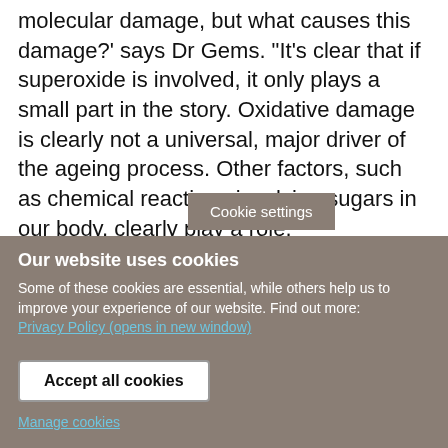molecular damage, but what causes this damage?' says Dr Gems. "It's clear that if superoxide is involved, it only plays a small part in the story. Oxidative damage is clearly not a universal, major driver of the ageing process. Other factors, such as chemical reactions involving sugars in our body, clearly play a role."
Dr Gems believes the study suggests that anti-ageing products, that claim [Cookie settings] ant properties, are unlikely to have any...
Cookie settings
Our website uses cookies
Some of these cookies are essential, while others help us to improve your experience of our website. Find out more:
Privacy Policy (opens in new window)
Accept all cookies
Manage cookies